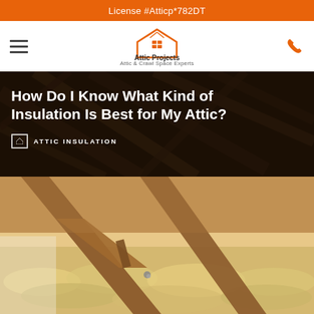License #Atticp*782DT
[Figure (logo): Attic Projects logo with house icon and text 'Attic Projects - Attic & Crawl Space Experts']
How Do I Know What Kind of Insulation Is Best for My Attic?
ATTIC INSULATION
[Figure (photo): Photo of attic insulation with wooden roof trusses visible, warm yellowish insulation material filling the spaces between joists]